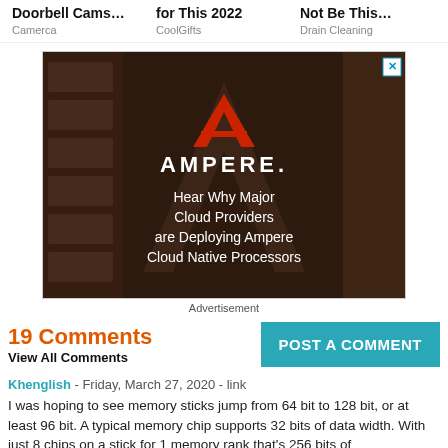Doorbell Cams…
Camerca
for This 2022
CoolGifts
Not Be This…
Drain Cleaning
[Figure (photo): Ampere advertisement banner with server rack background. Shows Ampere logo (red A symbol) and text: 'Hear Why Major Cloud Providers are Deploying Ampere Cloud Native Processors']
Advertisement
19 Comments
View All Comments
POST A COMMENT
Khenglish - Friday, March 27, 2020 - link
I was hoping to see memory sticks jump from 64 bit to 128 bit, or at least 96 bit. A typical memory chip supports 32 bits of data width. With just 8 chips on a stick for 1 memory rank that's 256 bits of